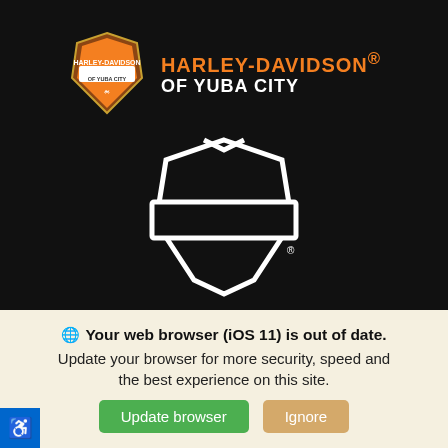[Figure (logo): Harley-Davidson of Yuba City shield badge logo in orange and brown, alongside text HARLEY-DAVIDSON® OF YUBA CITY in orange and white]
[Figure (logo): Harley-Davidson bar and shield outline logo in white on black background]
Call Us
Directions
Your web browser (iOS 11) is out of date.
Update your browser for more security, speed and the best experience on this site.
Update browser
Ignore